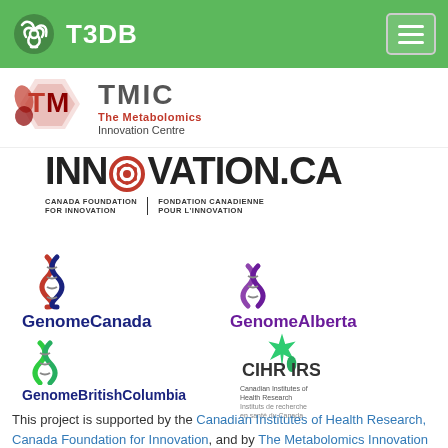T3DB
[Figure (logo): TMIC - The Metabolomics Innovation Centre logo]
[Figure (logo): INNOVATION.CA - Canada Foundation for Innovation / Fondation Canadienne pour l'Innovation logo]
[Figure (logo): Genome Canada logo]
[Figure (logo): Genome Alberta logo]
[Figure (logo): Genome British Columbia logo]
[Figure (logo): CIHR IRSC - Canadian Institutes of Health Research / Instituts de recherche en sante du Canada logo]
This project is supported by the Canadian Institutes of Health Research, Canada Foundation for Innovation, and by The Metabolomics Innovation Centre (TMIC), a nationally-funded research and core facility that supports a wide range of cutting-